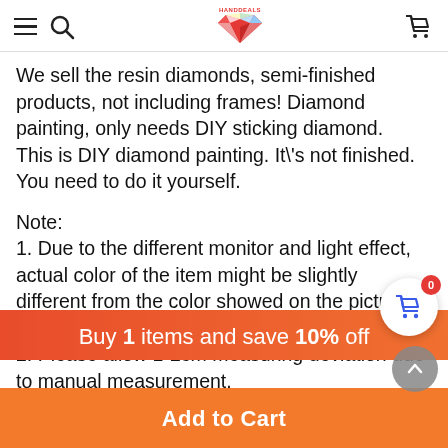HANDDEALS header with hamburger menu, search icon, logo, and cart icon
We sell the resin diamonds, semi-finished products, not including frames! Diamond painting, only needs DIY sticking diamond.
This is DIY diamond painting. It\'s not finished. You need to do it yourself.
Note:
1. Due to the different monitor and light effect, actual color of the item might be slightly different from the color showed on the pictures. Thank you!
2. Please allow 1-2cm measuring deviation due to manual measurement.
Package Content:
Buy 1 items and save 10% off
Add to Cart